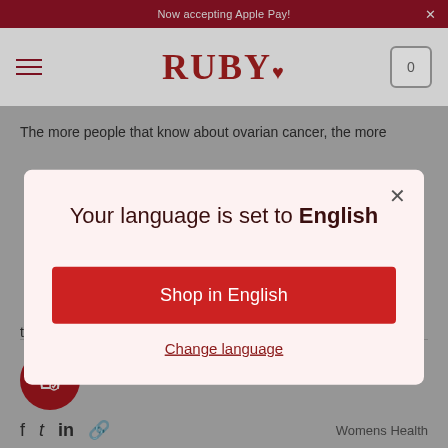Now accepting Apple Pay!
[Figure (logo): RUBY logo with heart icon and hamburger menu and cart icon]
The more people that know about ovarian cancer, the more
[Figure (screenshot): Language selection modal dialog with title 'Your language is set to English', a red 'Shop in English' button, and a 'Change language' link]
the comments.
[Figure (other): Red circular button with shopping bag and heart icon]
Womens Health